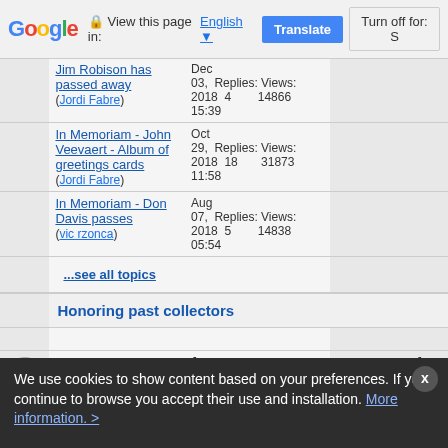Google | View this page in: English | Translate | Turn off for: S
Jim Robison has passed away (Jordi Fabre) Dec 03, 2018 15:39 Replies: 4 Views: 14866
In Memoriam - John Veevaert - Album of greetings cards (Jordi Fabre) Oct 29, 2018 11:58 Replies: 18 Views: 31873
In Memoriam - Don Davis passes (vic rzonca) Aug 07, 2018 05:54 Replies: 5 Views: 14838
...see all topics
Honoring past collectors
Honoring past collectors (Wynnek) Jan 14, 2015 Replies: 14 Views: 55202 | 1 | 15 | Jan 14 Jordi
We use cookies to show content based on your preferences. If you continue to browse you accept their use and installation. More information. >